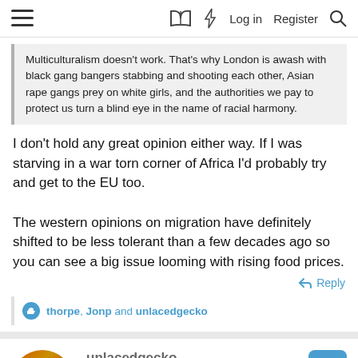≡  [book icon] [bolt icon] Log in  Register [search icon]
Multiculturalism doesn't work. That's why London is awash with black gang bangers stabbing and shooting each other, Asian rape gangs prey on white girls, and the authorities we pay to protect us turn a blind eye in the name of racial harmony.
I don't hold any great opinion either way. If I was starving in a war torn corner of Africa I'd probably try and get to the EU too.

The western opinions on migration have definitely shifted to be less tolerant than a few decades ago so you can see a big issue looming with rising food prices.
↩ Reply
👍 thorpe, Jonp and unlacedgecko
unlacedgecko
Member  Livestock Farmer